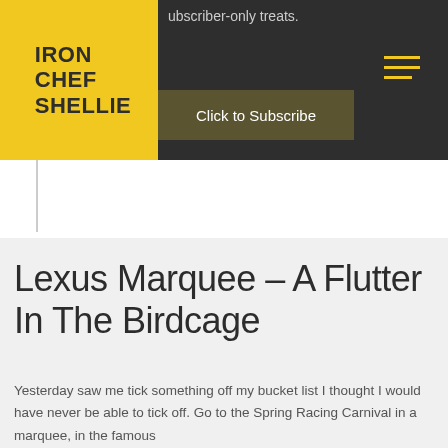IRON CHEF SHELLIE
subscriber-only treats
Click to Subscribe
Lexus Marquee – A Flutter In The Birdcage
Yesterday saw me tick something off my bucket list I thought I would have never be able to tick off. Go to the Spring Racing Carnival in a marquee, in the famous